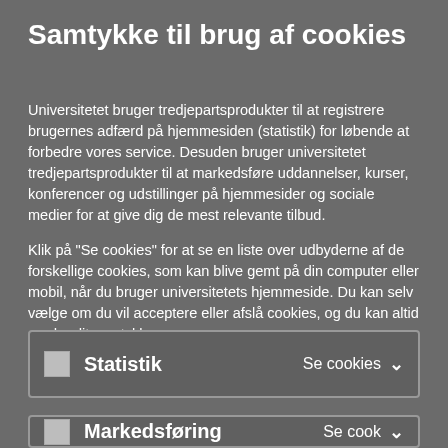Samtykke til brug af cookies
Universitetet bruger tredjepartsprodukter til at registrere brugernes adfærd på hjemmesiden (statistik) for løbende at forbedre vores service. Desuden bruger universitetet tredjepartsprodukter til at markedsføre uddannelser, kurser, konferencer og udstillinger på hjemmesider og sociale medier for at give dig de mest relevante tilbud.
Klik på "Se cookies" for at se en liste over udbyderne af de forskellige cookies, som kan blive gemt på din computer eller mobil, når du bruger universitetets hjemmeside. Du kan selv vælge om du vil acceptere eller afslå cookies, og du kan altid ændre dit samtykke